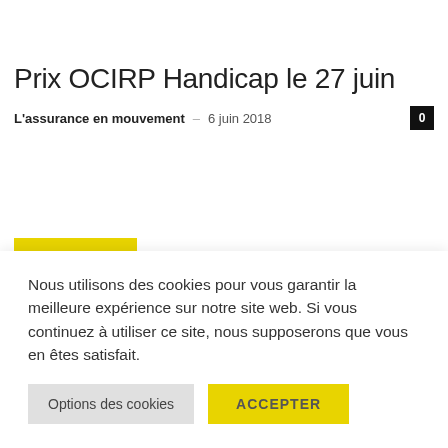Prix OCIRP Handicap le 27 juin
L'assurance en mouvement – 6 juin 2018
MOST READ
Nous utilisons des cookies pour vous garantir la meilleure expérience sur notre site web. Si vous continuez à utiliser ce site, nous supposerons que vous en êtes satisfait.
Options des cookies   ACCEPTER